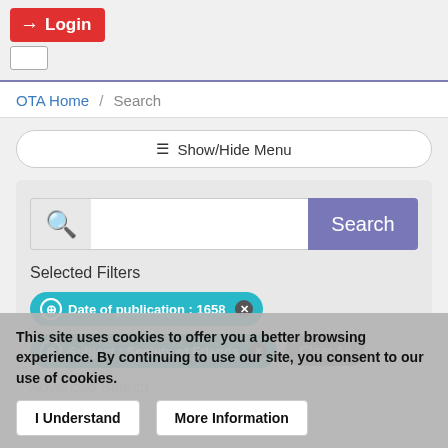[Figure (screenshot): Login button - red rounded rectangle with arrow icon and 'Login' text, plus a small checkbox below]
OTA Home / Search
☰ Show/Hide Menu
[Figure (screenshot): Search bar with magnifying glass icon, text input field, and purple Search button]
Selected Filters
⊕ Date of publication : 1658 ✕
⊕ Subject : Society of Friends ✕
Clear All
This site uses cookies to offer you a better browsing experience. By continuing to use our site, you consent to our use of cookies.
I Understand
More Information